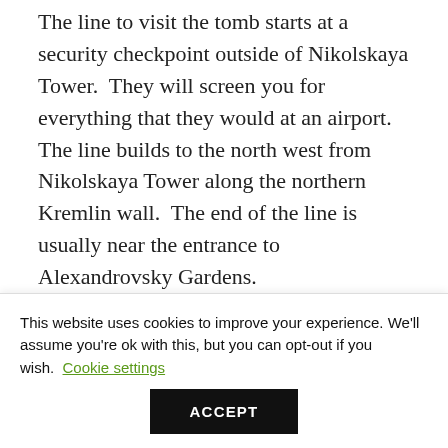The line to visit the tomb starts at a security checkpoint outside of Nikolskaya Tower. They will screen you for everything that they would at an airport. The line builds to the north west from Nikolskaya Tower along the northern Kremlin wall. The end of the line is usually near the entrance to Alexandrovsky Gardens.
After you clear the security checkpoint you will be let into the Kremlin Wall Necropolis. This all leads behind the actual mausoleum where Lenin is housed. After you finish your walk behind the
This website uses cookies to improve your experience. We'll assume you're ok with this, but you can opt-out if you wish. Cookie settings
ACCEPT